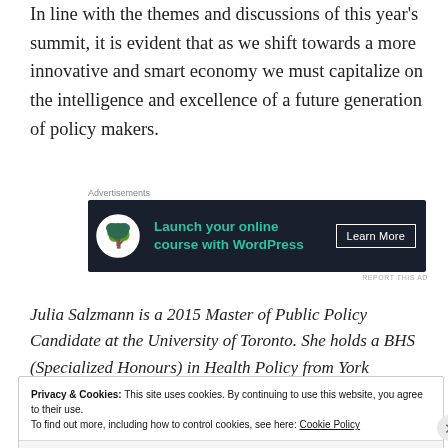In line with the themes and discussions of this year's summit, it is evident that as we shift towards a more innovative and smart economy we must capitalize on the intelligence and excellence of a future generation of policy makers.
[Figure (other): Advertisement banner: dark navy background with teal bonsai tree icon circle, text 'Launch your online course with WordPress' in teal, and a 'Learn More' button in white outline]
Julia Salzmann is a 2015 Master of Public Policy Candidate at the University of Toronto. She holds a BHS (Specialized Honours) in Health Policy from York
Privacy & Cookies: This site uses cookies. By continuing to use this website, you agree to their use. To find out more, including how to control cookies, see here: Cookie Policy
Close and accept